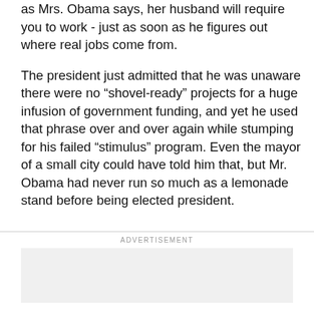as Mrs. Obama says, her husband will require you to work - just as soon as he figures out where real jobs come from.
The president just admitted that he was unaware there were no “shovel-ready” projects for a huge infusion of government funding, and yet he used that phrase over and over again while stumping for his failed “stimulus” program. Even the mayor of a small city could have told him that, but Mr. Obama had never run so much as a lemonade stand before being elected president.
ADVERTISEMENT